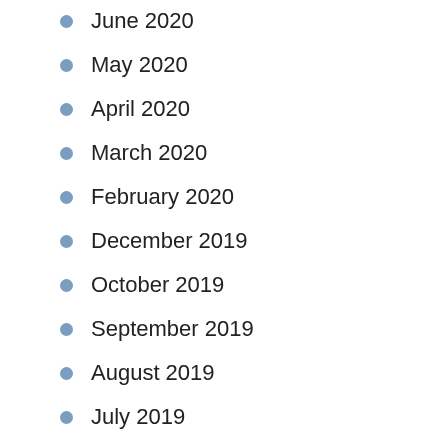June 2020
May 2020
April 2020
March 2020
February 2020
December 2019
October 2019
September 2019
August 2019
July 2019
June 2019
May 2019